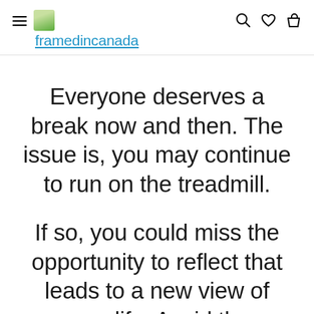framedincanada
Everyone deserves a break now and then. The issue is, you may continue to run on the treadmill.
If so, you could miss the opportunity to reflect that leads to a new view of your life. Avoid the temptation to be negative during